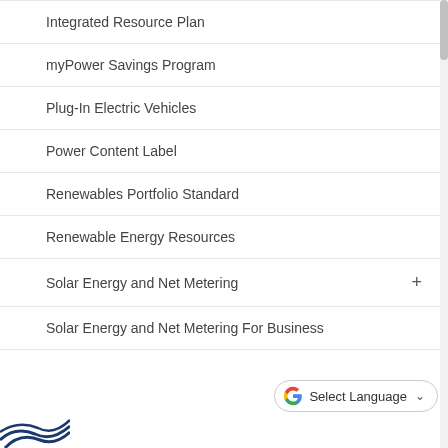Integrated Resource Plan
myPower Savings Program
Plug-In Electric Vehicles
Power Content Label
Renewables Portfolio Standard
Renewable Energy Resources
Solar Energy and Net Metering
Solar Energy and Net Metering For Business
Select Language